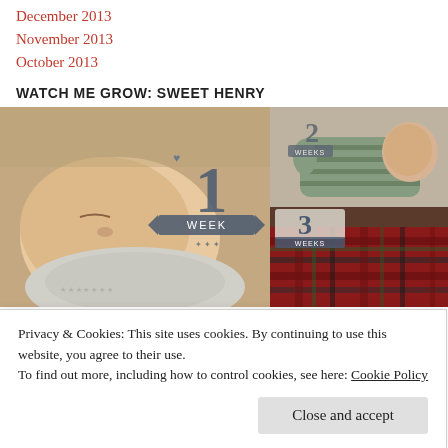December 2013
November 2013
October 2013
WATCH ME GROW: SWEET HENRY
[Figure (photo): Collage of three baby photos showing a newborn at 1 week, 2 weeks, and 3 weeks old with milestone cards.]
Privacy & Cookies: This site uses cookies. By continuing to use this website, you agree to their use.
To find out more, including how to control cookies, see here: Cookie Policy
Close and accept